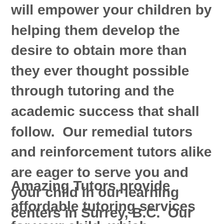will empower your children by helping them develop the desire to obtain more than they ever thought possible through tutoring and the academic success that shall follow.  Our remedial tutors and reinforcement tutors alike are eager to serve you and your child in our learning centers in Surrey, B.C.  Our Math and English tutors are eager to help your children master their school homework, either online or in our learning centers in Surrey, B.C.
Amazing Tutors provide affordable tutoring services for your child, which